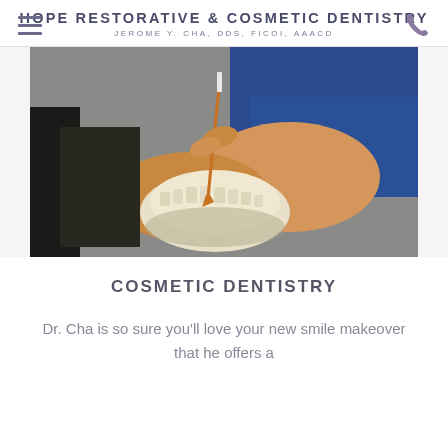HOPE RESTORATIVE & COSMETIC DENTISTRY
JEROME Y. CHA, DDS, FICOI, AAACD
[Figure (photo): A dental technician or dentist in a blue scrub top using a fine brush to paint or detail a dental mold or cast model of teeth, held in their other hand over a dark tray. Close-up of hands working on dental prosthetics in a lab setting.]
COSMETIC DENTISTRY
Dr. Cha is so sure you'll love your new smile makeover that he offers a